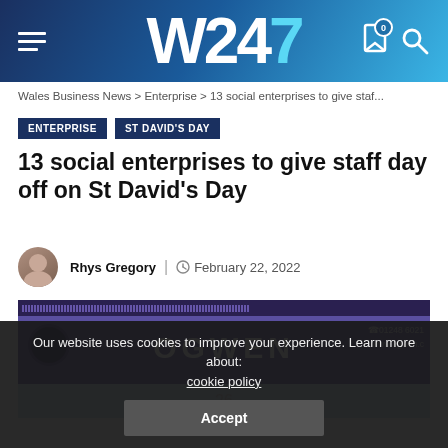W247
Wales Business News > Enterprise > 13 social enterprises to give staf...
ENTERPRISE
ST DAVID'S DAY
13 social enterprises to give staff day off on St David's Day
Rhys Gregory | February 22, 2022
[Figure (photo): Exterior photo of Ogwen shop/business with purple fascia, CCTV camera, showing phone number 01248 6021... and website www.ogwen.c...]
Our website uses cookies to improve your experience. Learn more about: cookie policy
Accept